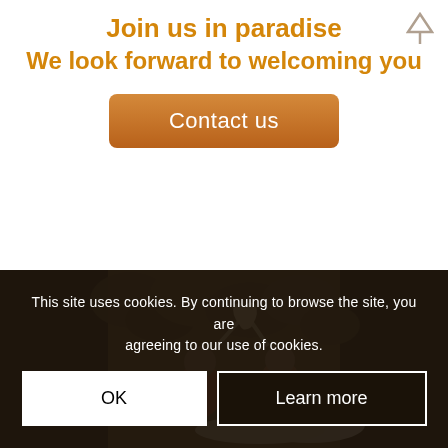Join us in paradise
We look forward to welcoming you
Contact us
[Figure (photo): Two people kayaking on a river surrounded by large rocks, wearing life vests and paddling a white inflatable raft in warm golden light]
This site uses cookies. By continuing to browse the site, you are agreeing to our use of cookies.
OK
Learn more